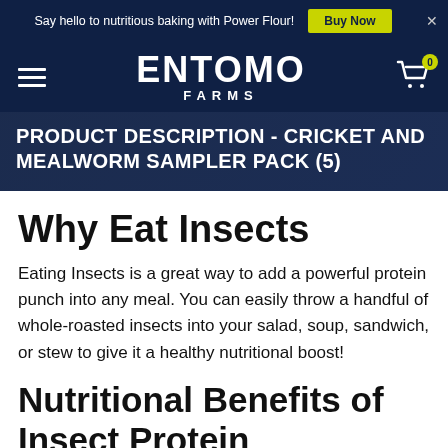Say hello to nutritious baking with Power Flour! Buy Now ✕
[Figure (logo): Entomo Farms logo with hamburger menu and shopping cart with badge showing 0]
PRODUCT DESCRIPTION - CRICKET AND MEALWORM SAMPLER PACK (5)
Why Eat Insects
Eating Insects is a great way to add a powerful protein punch into any meal. You can easily throw a handful of whole-roasted insects into your salad, soup, sandwich, or stew to give it a healthy nutritional boost!
Nutritional Benefits of Insect Protein